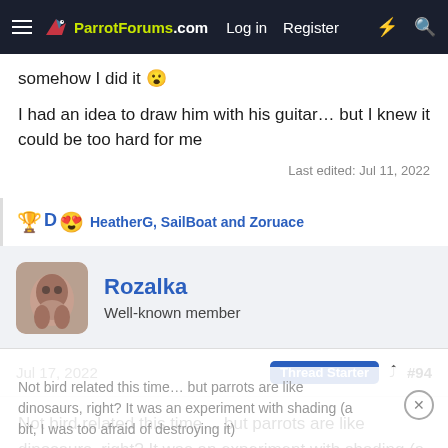ParrotForums.com  Log in  Register
somehow I did it 😮
I had an idea to draw him with his guitar… but I knew it could be too hard for me
Last edited: Jul 11, 2022
🏆 🇩 😍 HeatherG, SailBoat and Zoruace
Rozalka
Well-known member
Jul 17, 2022   Thread Starter  #94
Not bird related this time… but parrots are like dinosaurs, right? It was an experiment with shading (a bit, I was too afraid of destroying it)